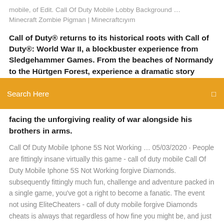mobile, of Edit. Call Of Duty Mobile Lobby Background …
Minecraft Zombie Pigman | Minecraftcıyım
Call of Duty® returns to its historical roots with Call of Duty®: World War II, a blockbuster experience from Sledgehammer Games. From the beaches of Normandy to the Hürtgen Forest, experience a dramatic story...
[Figure (screenshot): Orange search bar with text 'Search Here' and a small icon on the right]
facing the unforgiving reality of war alongside his brothers in arms.
Call Of Duty Mobile Iphone 5S Not Working … 05/03/2020 · People are fittingly insane virtually this game - call of duty mobile Call Of Duty Mobile Iphone 5S Not Working forgive Diamonds. subsequently fittingly much fun, challenge and adventure packed in a single game, you've got a right to become a fanatic. The event not using EliteCheaters - call of duty mobile forgive Diamonds cheats is always that regardless of how fine you might be, and just how Working guns in vanilla Minecraft